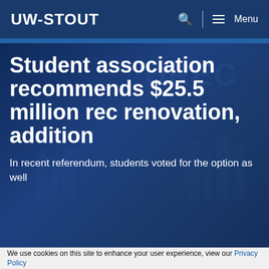UW-STOUT
[Figure (photo): Background photo of a recreation center (UREC) with gym equipment, overlaid with a dark blue tint]
Student association recommends $25.5 million rec renovation, addition
In recent referendum, students voted for the option as well
We use cookies on this site to enhance your user experience, view our Privacy Policy